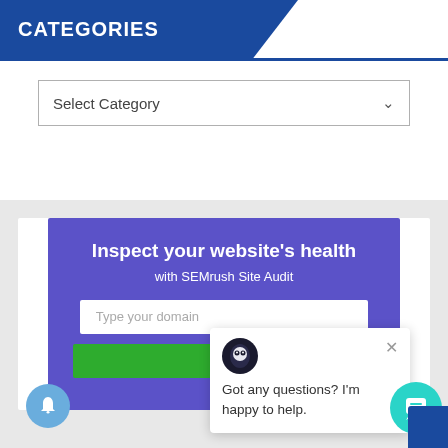CATEGORIES
[Figure (screenshot): Select Category dropdown input box]
[Figure (screenshot): SEMrush Site Audit widget with purple background, showing 'Inspect your website's health with SEMrush Site Audit', a domain input field, and a green button]
[Figure (screenshot): Chat popup with SEMrush logo, close X button, and text 'Got any questions? I'm happy to help.']